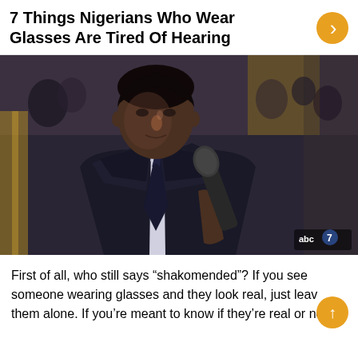7 Things Nigerians Who Wear Glasses Are Tired Of Hearing
[Figure (photo): A man in a dark navy suit and tie holding a microphone, photographed at what appears to be an awards ceremony. ABC7 watermark visible in the bottom right corner.]
First of all, who still says “shakomended”? If you see someone wearing glasses and they look real, just leave them alone. If you’re meant to know if they’re real or not